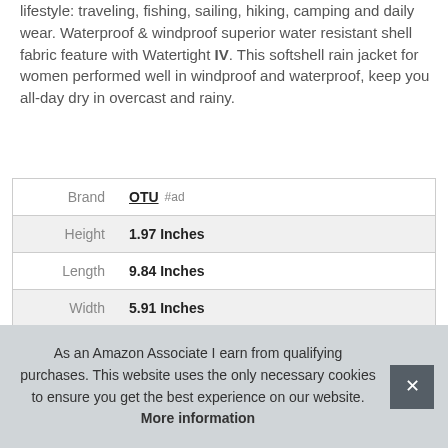lifestyle: traveling, fishing, sailing, hiking, camping and daily wear. Waterproof & windproof superior water resistant shell fabric feature with Watertight IV. This softshell rain jacket for women performed well in windproof and waterproof, keep you all-day dry in overcast and rainy.
|  |  |
| --- | --- |
| Brand | OTU #ad |
| Height | 1.97 Inches |
| Length | 9.84 Inches |
| Width | 5.91 Inches |
| Model | 916B(women)-Black-M |
As an Amazon Associate I earn from qualifying purchases. This website uses the only necessary cookies to ensure you get the best experience on our website. More information